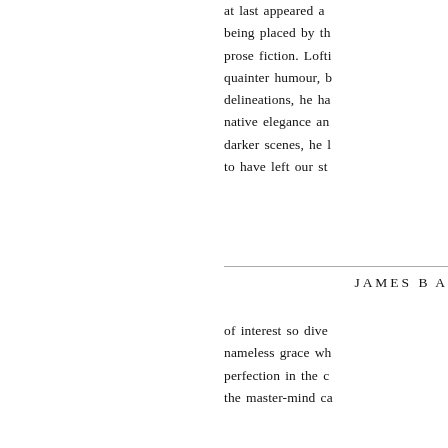at last appeared a being placed by th prose fiction. Lofti quainter humour, b delineations, he ha native elegance an darker scenes, he l to have left our st
JAMES BA
of interest so dive nameless grace wh perfection in the c the master-mind ca